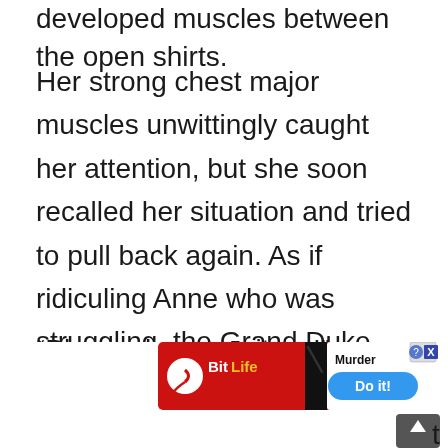developed muscles between the open shirts.
Her strong chest major muscles unwittingly caught her attention, but she soon recalled her situation and tried to pull back again. As if ridiculing Anne who was struggling, the Grand Duke increased his strength and tightened the small body of the woman lying beneath him even more tightly.
“Ple … please wait … !”
The k[obscured by ad]sh in his st[obscured by ad]t
[Figure (screenshot): Mobile advertisement banner for BitLife game showing red background with BitLife logo, a sperm emoji icon, yellow 'BITLIFE' text, a dark diagonal bar, and 'Murder Do it!' text with a blue button. A close button (X) appears in the top right corner. A grey scroll-to-top arrow button appears at the bottom right.]